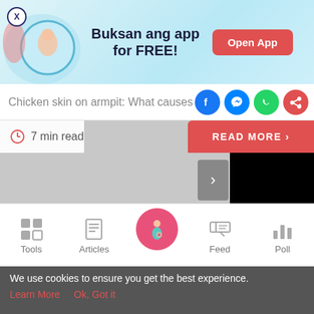[Figure (infographic): App promotion banner with pregnant woman illustration, light blue background, 'Buksan ang app for FREE!' text and red 'Open App' button]
Chicken skin on armpit: What causes
[Figure (infographic): Social sharing icons: Facebook (blue circle), Messenger (blue circle), WhatsApp (green circle), Share (red circle)]
7 min read
[Figure (screenshot): Partially visible article image strip, gray background with carousel arrow and black redacted block overlay]
[Figure (infographic): Bottom navigation bar with Tools, Articles, Home (pink circle with pregnant woman icon), Feed, Poll icons]
We use cookies to ensure you get the best experience.
Learn More   Ok, Got it